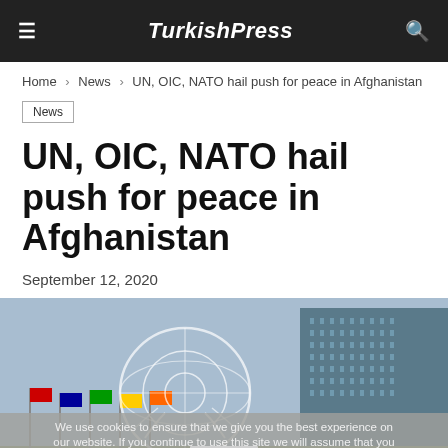TurkishPress
Home > News > UN, OIC, NATO hail push for peace in Afghanistan
News
UN, OIC, NATO hail push for peace in Afghanistan
September 12, 2020
[Figure (photo): UN headquarters building with flags and UN logo watermark, with cookie consent overlay reading: We use cookies to ensure that we give you the best experience on our website. If you continue to use this site we will assume that you are happy with it. OK]